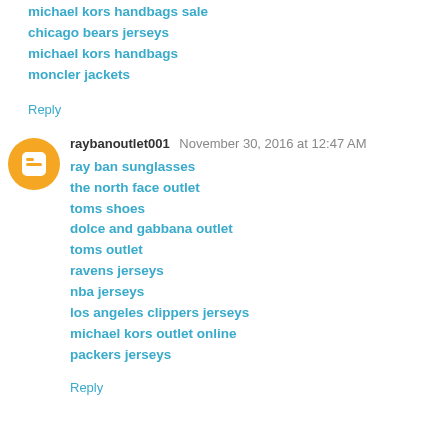michael kors handbags sale
chicago bears jerseys
michael kors handbags
moncler jackets
Reply
raybanoutlet001  November 30, 2016 at 12:47 AM
ray ban sunglasses
the north face outlet
toms shoes
dolce and gabbana outlet
toms outlet
ravens jerseys
nba jerseys
los angeles clippers jerseys
michael kors outlet online
packers jerseys
Reply